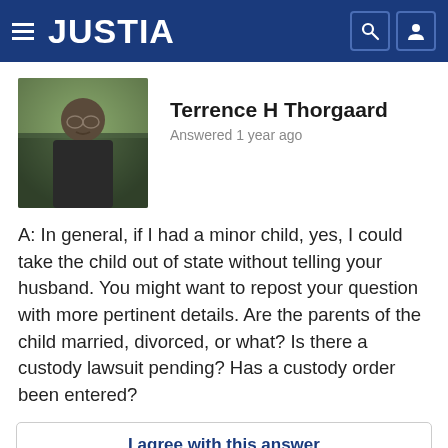JUSTIA
[Figure (photo): Profile photo of Terrence H Thorgaard, a middle-aged man with glasses and a mustache, wearing dark clothing, outdoors with trees in background]
Terrence H Thorgaard
Answered 1 year ago
A: In general, if I had a minor child, yes, I could take the child out of state without telling your husband. You might want to repost your question with more pertinent details. Are the parents of the child married, divorced, or what? Is there a custody lawsuit pending? Has a custody order been entered?
I agree with this answer
Report